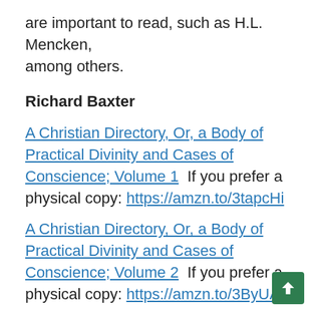are important to read, such as H.L. Mencken, among others.
Richard Baxter
A Christian Directory, Or, a Body of Practical Divinity and Cases of Conscience; Volume 1  If you prefer a physical copy: https://amzn.to/3tapcHi
A Christian Directory, Or, a Body of Practical Divinity and Cases of Conscience; Volume 2  If you prefer a physical copy: https://amzn.to/3ByUAIK
A Christian Directory, Or, a Body of Practical Divinity and Cases of Conscience; Volume 3  If you prefer a physical copy: https://amzn.to/3kS00S2